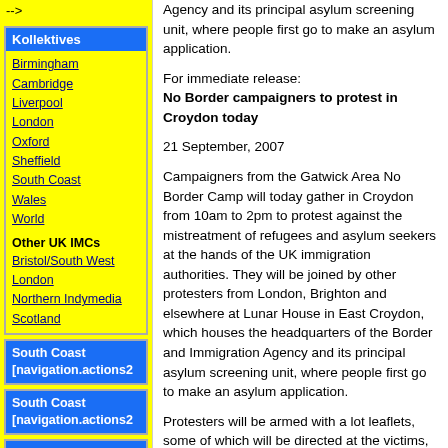Agency and its principal asylum screening unit, where people first go to make an asylum application.
-->
Kollektives
Birmingham
Cambridge
Liverpool
London
Oxford
Sheffield
South Coast
Wales
World
Other UK IMCs
Bristol/South West
London
Northern Indymedia
Scotland
South Coast [navigation.actions2
South Coast [navigation.actions2
South Coast [navigation.actions2
For immediate release:
No Border campaigners to protest in Croydon today
21 September, 2007
Campaigners from the Gatwick Area No Border Camp will today gather in Croydon from 10am to 2pm to protest against the mistreatment of refugees and asylum seekers at the hands of the UK immigration authorities. They will be joined by other protesters from London, Brighton and elsewhere at Lunar House in East Croydon, which houses the headquarters of the Border and Immigration Agency and its principal asylum screening unit, where people first go to make an asylum application.
Protesters will be armed with a lot leaflets, some of which will be directed at the victims, others at the public and some at the people working in Lunar House and the nearby immigration reporting centre, Electric House.
The 4-day camp, which started yesterday with a public meet-and-greet in Crawley, is part of a campaign against a new immigration detention centre that is being built at Gatwick Airport as well as other immigration prisons and controls throughout the country.
A spokesman from No Borders UK, the network organising the protest camp, said: "We will gather outside Lunar House at The clock tower..."